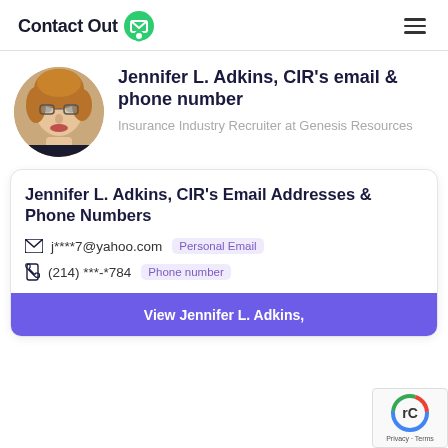ContactOut
[Figure (photo): Profile photo of Jennifer L. Adkins, CIR — a woman with auburn/blonde hair wearing glasses, circular crop]
Jennifer L. Adkins, CIR's email & phone number
Insurance Industry Recruiter at Genesis Resources
Jennifer L. Adkins, CIR's Email Addresses & Phone Numbers
j****7@yahoo.com  Personal Email
(214) ***-*784  Phone number
View Jennifer L. Adkins, CIR's Email & Phone Number